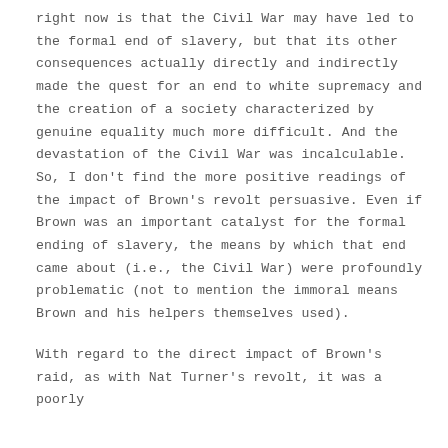right now is that the Civil War may have led to the formal end of slavery, but that its other consequences actually directly and indirectly made the quest for an end to white supremacy and the creation of a society characterized by genuine equality much more difficult. And the devastation of the Civil War was incalculable. So, I don't find the more positive readings of the impact of Brown's revolt persuasive. Even if Brown was an important catalyst for the formal ending of slavery, the means by which that end came about (i.e., the Civil War) were profoundly problematic (not to mention the immoral means Brown and his helpers themselves used).
With regard to the direct impact of Brown's raid, as with Nat Turner's revolt, it was a poorly